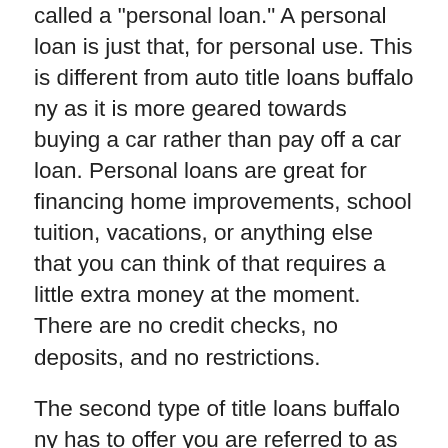called a "personal loan." A personal loan is just that, for personal use. This is different from auto title loans buffalo ny as it is more geared towards buying a car rather than pay off a car loan. Personal loans are great for financing home improvements, school tuition, vacations, or anything else that you can think of that requires a little extra money at the moment. There are no credit checks, no deposits, and no restrictions.
The second type of title loans buffalo ny has to offer you are referred to as "higher loan amounts." These are for bigger purchases like homes or businesses. Because these larger purchases carry bigger payments and longer terms than your smaller purchases, they require larger loan amounts. Although lenders don't typically check credit scores or financial information when approving larger loans, your credit score is still taken into account. In fact, you may find that you are approved at a lower rate than you would get with smaller purchases because your credit